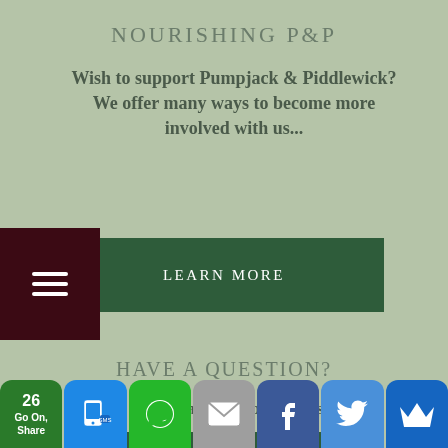NOURISHING P&P
Wish to support Pumpjack & Piddlewick? We offer many ways to become more involved with us...
[Figure (other): Green button labeled LEARN MORE]
HAVE A QUESTION?
You can contact us through our shop
[Figure (other): Green button labeled CONTACT US]
[Figure (other): Social sharing bar with share count 26, SMS, WhatsApp, Email, Facebook, Twitter, and crown icon buttons]